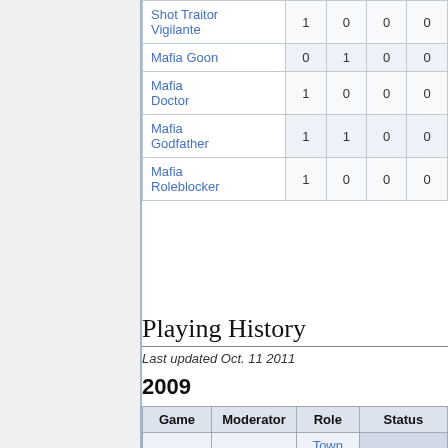| Role |  |  |  |  |
| --- | --- | --- | --- | --- |
| Shot Traitor Vigilante | 1 | 0 | 0 | 0 |
| Mafia Goon | 0 | 1 | 0 | 0 |
| Mafia Doctor | 1 | 0 | 0 | 0 |
| Mafia Godfather | 1 | 1 | 0 | 0 |
| Mafia Roleblocker | 1 | 0 | 0 | 0 |
Playing History
Last updated Oct. 11 2011
2009
| Game | Moderator | Role | Status |
| --- | --- | --- | --- |
| Mini 877 | CJMiller | Town Tracker | Abandoned |